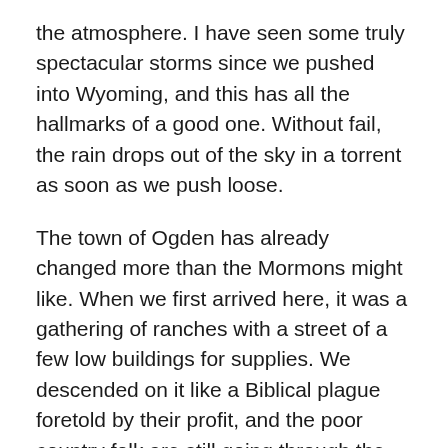the atmosphere. I have seen some truly spectacular storms since we pushed into Wyoming, and this has all the hallmarks of a good one. Without fail, the rain drops out of the sky in a torrent as soon as we push loose.
The town of Ogden has already changed more than the Mormons might like. When we first arrived here, it was a gathering of ranches with a street of a few low buildings for supplies. We descended on it like a Biblical plague foretold by their profit, and the poor country folk are still going through the pain and suffering of acclimating to his investments. Even in the monsoon, I can see a few more log buildings, a station house going up, footings for rail yard hotels—it'll be a bustling dust hole by the end of the year, overflowing with travelers who might like the notion of having a few wives, but aren't so keen on giving up their tongue, ei...